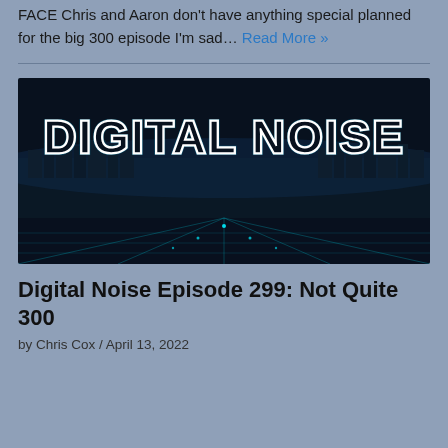FACE Chris and Aaron don't have anything special planned for the big 300 episode I'm sad… Read More »
[Figure (illustration): Digital Noise podcast logo — large stylized text 'DIGITAL NOISE' with neon/Tron-style outlines on a dark background showing a futuristic city skyline and glowing grid floor.]
Digital Noise Episode 299: Not Quite 300
by Chris Cox / April 13, 2022